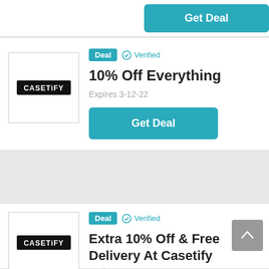[Figure (screenshot): Partial top of a deals card showing a 'Get Deal' teal button cropped at top]
Deal  Verified
10% Off Everything
Expires 3-12-22
Get Deal
Deal  Verified
Extra 10% Off & Free Delivery At Casetify
Expires 18-11-22
Get Deal